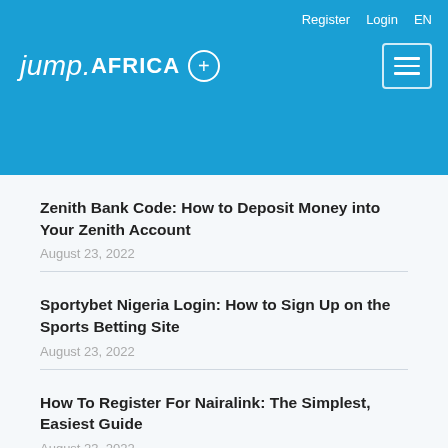jump.AFRICA + | Register Login EN
Zenith Bank Code: How to Deposit Money into Your Zenith Account
August 23, 2022
Sportybet Nigeria Login: How to Sign Up on the Sports Betting Site
August 23, 2022
How To Register For Nairalink: The Simplest, Easiest Guide
August 23, 2022